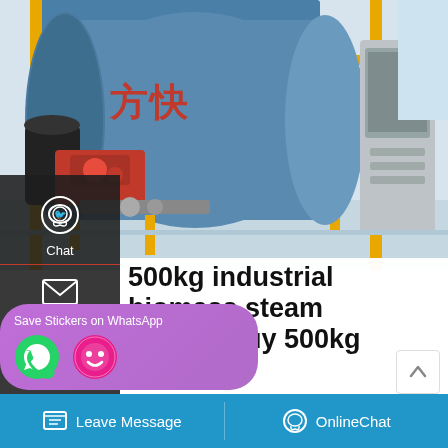[Figure (photo): Industrial biomass steam boiler in a factory setting, large blue cylindrical boiler with red Chinese characters, yellow metal scaffolding and pipes, red burner assembly, control panel on right side]
500kg industrial biomass steam boiler - Buy 500kg steam
Steam generator core advantages: 1.Generate steam only need minutes. 2.The efficiency over 90%,high quality. 3.Low operating costs. 4.Long life service,Low failure rate. 5.Simple operation. 6.Microcomputer control,
Leave Message   OnlineChat